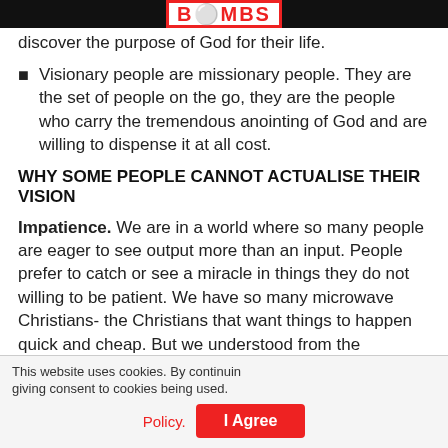BOMBS
discover the purpose of God for their life.
Visionary people are missionary people. They are the set of people on the go, they are the people who carry the tremendous anointing of God and are willing to dispense it at all cost.
WHY SOME PEOPLE CANNOT ACTUALISE THEIR VISION
Impatience. We are in a world where so many people are eager to see output more than an input. People prefer to catch or see a miracle in things they do not willing to be patient. We have so many microwave Christians- the Christians that want things to happen quick and cheap. But we understood from the anchored scripture that God
This website uses cookies. By continuing giving consent to cookies being used.
Message Us on WhatsApp
Policy.
I Agree